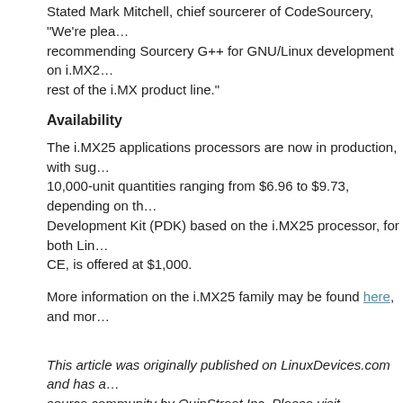Stated Mark Mitchell, chief sourcerer of CodeSourcery, "We're pleased to be recommending Sourcery G++ for GNU/Linux development on i.MX25 and the rest of the i.MX product line."
Availability
The i.MX25 applications processors are now in production, with suggested 10,000-unit quantities ranging from $6.96 to $9.73, depending on the version. A Development Kit (PDK) based on the i.MX25 processor, for both Linux and Windows CE, is offered at $1,000.
More information on the i.MX25 family may be found here, and more...
This article was originally published on LinuxDevices.com and has been made available to the open source community by QuinStreet Inc. Please visit LinuxToday.com for up-to-date articles about Linux and open source.
Related Posts:
Embedded Linux framework supports industrial Cortex-A8 SoC
Freescale re-purposes automotive chips
Tablet reference platform builds on new Cortex-A8 SoC